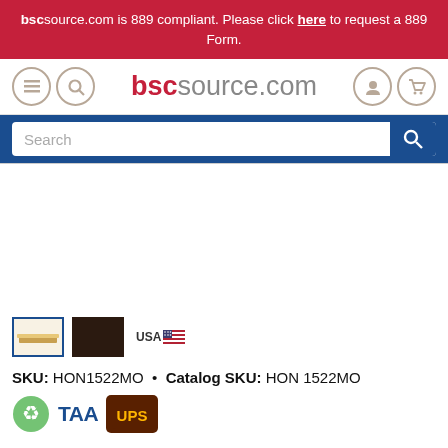bscsource.com is 889 compliant. Please click here to request a 889 Form.
[Figure (screenshot): Website navigation bar with bscsource.com logo, hamburger menu, search icon, user icon, and cart icon]
[Figure (screenshot): Search bar with blue background, white input field with placeholder text 'Search' and blue search button]
[Figure (screenshot): Product thumbnail images: selected shelf item with blue border, dark brown color swatch, USA flag badge]
SKU: HON1522MO  •  Catalog SKU: HON 1522MO
[Figure (screenshot): Badges: green recycling badge, TAA text badge in blue, UPS logo badge in brown/gold]
DETAILS